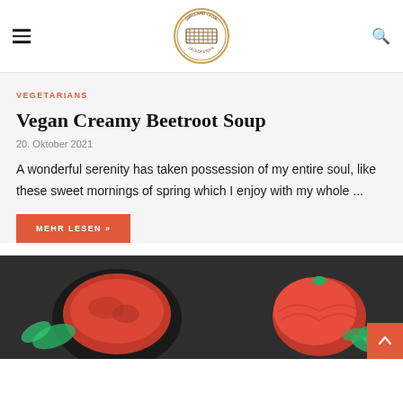Grill and Cook - Lecker Essen (logo)
VEGETARIANS
Vegan Creamy Beetroot Soup
20. Oktober 2021
A wonderful serenity has taken possession of my entire soul, like these sweet mornings of spring which I enjoy with my whole ...
MEHR LESEN »
[Figure (photo): Dark background photo showing a bowl of red tomato sauce on the left and a large red heritage tomato with green basil leaves on the right]